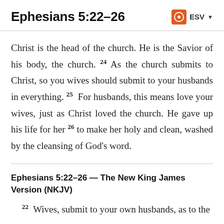Ephesians 5:22–26
Christ is the head of the church. He is the Savior of his body, the church. 24 As the church submits to Christ, so you wives should submit to your husbands in everything. 25 For husbands, this means love your wives, just as Christ loved the church. He gave up his life for her 26 to make her holy and clean, washed by the cleansing of God's word.
Ephesians 5:22–26 — The New King James Version (NKJV)
22 Wives, submit to your own husbands, as to the